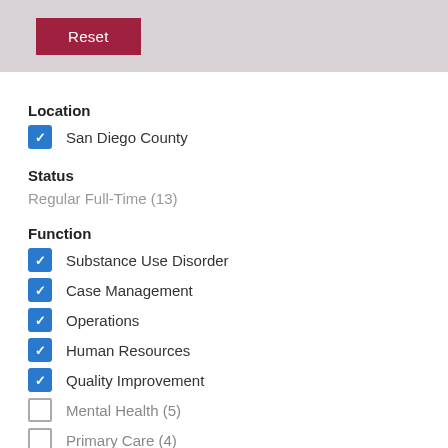[Figure (screenshot): Reset button in a dark red/crimson color on a gray background]
Location
San Diego County (checked)
Status
Regular Full-Time (13)
Function
Substance Use Disorder (checked)
Case Management (checked)
Operations (checked)
Human Resources (checked)
Quality Improvement (checked)
Mental Health (5) (unchecked)
Primary Care (4) (unchecked)
Administrative Support (2) (unchecked)